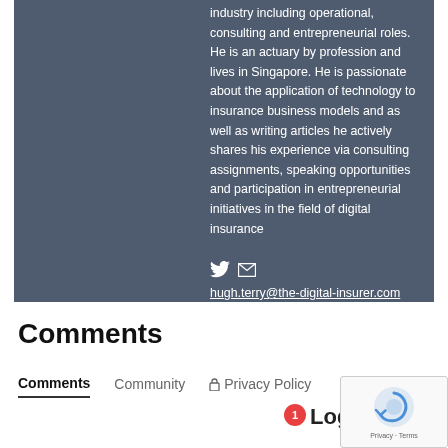industry including operational, consulting and entrepreneurial roles. He is an actuary by profession and lives in Singapore. He is passionate about the application of technology to insurance business models and as well as writing articles he actively shares his experience via consulting assignments, speaking opportunities and participation in entrepreneurial initiatives in the field of digital insurance
hugh.terry@the-digital-insurer.com
Comments
Comments  Community  Privacy Policy  Login